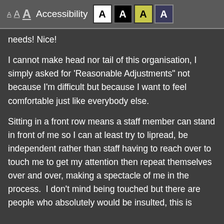A A A Accessibility A A A A
needs! Nice!
I cannot make head nor tail of this organisation, I simply asked for ‘Reasonable Adjustments” not because I’m difficult but because I want to feel comfortable just like everybody else.
Sitting in a front row means a staff member can stand in front of me so I can at least try to lipread, be independent rather than staff having to reach over to touch me to get my attention then repeat themselves over and over, making a spectacle of me in the process.  I don't mind being touched but there are people who absolutely would be insulted, this is